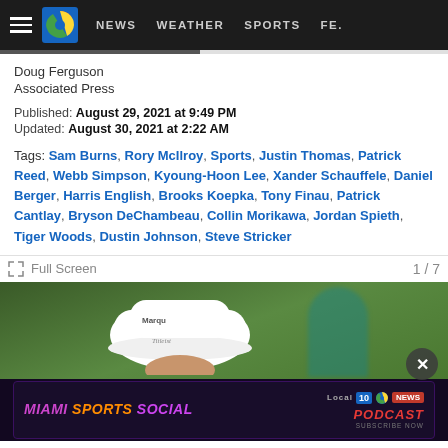Navigation bar with hamburger menu, Channel 10 logo, NEWS, WEATHER, SPORTS, FE...
Doug Ferguson
Associated Press
Published: August 29, 2021 at 9:49 PM
Updated: August 30, 2021 at 2:22 AM
Tags: Sam Burns, Rory McIlroy, Sports, Justin Thomas, Patrick Reed, Webb Simpson, Kyoung-Hoon Lee, Xander Schauffele, Daniel Berger, Harris English, Brooks Koepka, Tony Finau, Patrick Cantlay, Bryson DeChambeau, Collin Morikawa, Jordan Spieth, Tiger Woods, Dustin Johnson, Steve Stricker
Full Screen
1 / 7
[Figure (photo): Photo of a golfer wearing a white Titleist hat with Marquee sponsor logo, blurred green background with another player in teal visible]
[Figure (infographic): Miami Sports Social Podcast advertisement banner with Local 10 News logo]